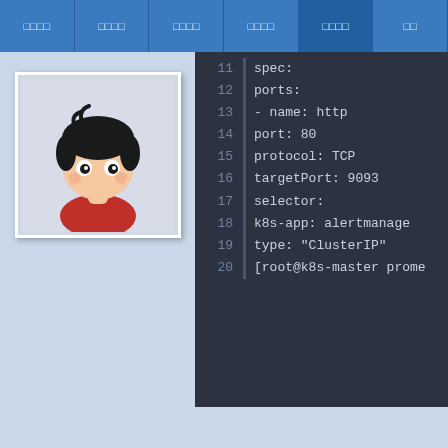□□□□ | □□□□ | □□□□ | □□□□ | □□□□ | □□ | adooomanager-kuberne kubernetes.io/names
[Figure (illustration): Cartoon avatar of a child with black hair wearing a red shirt, displayed in a white photo frame with drop shadow]
[Figure (screenshot): Code editor screenshot showing YAML Kubernetes service definition, lines 11-20: spec, ports, name: http, port: 80, protocol: TCP, targetPort: 9093, selector, k8s-app: alertmanage, type: ClusterIP, command prompt line]
[Figure (screenshot): Code block line 1: 7.□□□□□□□□□□pod/alertm]
[Figure (screenshot): Code block lines 1-3: [root@k8s-master prometh, NAME, pod/alertmanager-5d75d56]